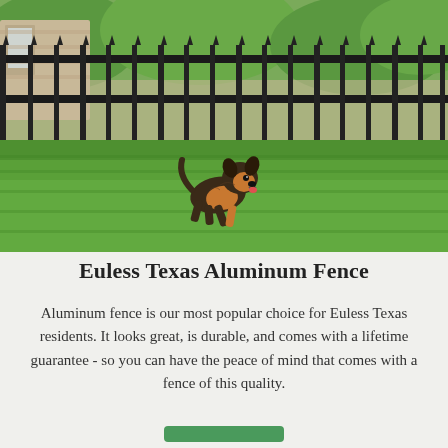[Figure (photo): A small Yorkshire Terrier dog running on green grass in front of a black aluminum fence with stone building and trees in the background.]
Euless Texas Aluminum Fence
Aluminum fence is our most popular choice for Euless Texas residents. It looks great, is durable, and comes with a lifetime guarantee - so you can have the peace of mind that comes with a fence of this quality.